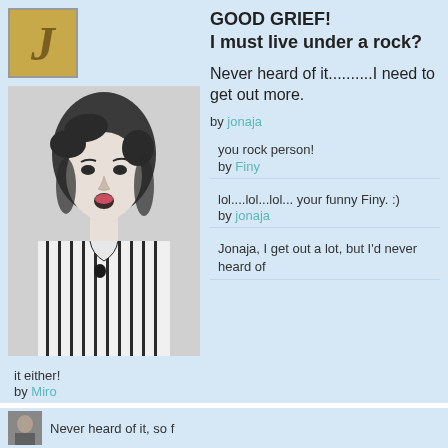[Figure (photo): Black and white vintage photo of a woman with an expressive surprised face, wearing a striped outfit]
GOOD GRIEF!
I must live under a rock?

Never heard of it..........I need to get out more.

by jonaja
you rock person!
by Finy
lol....lol...lol... your funny Finy. :)
by jonaja
Jonaja, I get out a lot, but I'd never heard of it either!
by Miro
Oh! Miro thank goodness thought it was just me?....lol
by jonaja
[Figure (photo): Small thumbnail avatar at bottom of page]